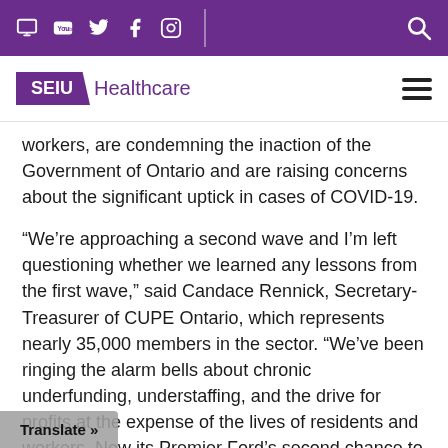SEIU Healthcare navigation bar with social media icons and search
[Figure (logo): SEIU Healthcare logo with purple SEIU box and purple Healthcare text, plus hamburger menu icon]
workers, are condemning the inaction of the Government of Ontario and are raising concerns about the significant uptick in cases of COVID-19.
“We’re approaching a second wave and I’m left questioning whether we learned any lessons from the first wave,” said Candace Rennick, Secretary-Treasurer of CUPE Ontario, which represents nearly 35,000 members in the sector. “We’ve been ringing the alarm bells about chronic underfunding, understaffing, and the drive for profits at the expense of the lives of residents and workers. Now its Premier Ford’s second chance to listen and take action.”
Sharleen Stewart, President of SEIU Healthcare added: “Workers, elder care experts, seniors, and families alike … ame tune. They all want increased … They all want full…